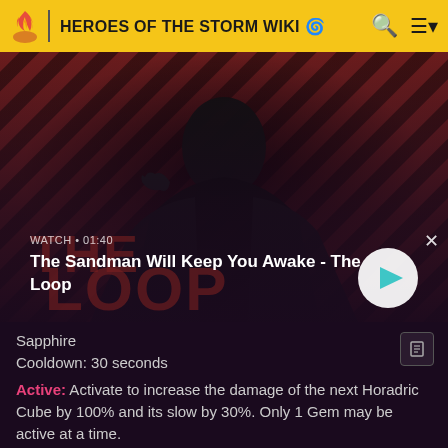HEROES OF THE STORM WIKI
[Figure (screenshot): Dark promotional image of The Sandman character in a black coat with a raven on his shoulder, against a red and black diagonal stripe background. Shows video player overlay with watch time 01:40 and title 'The Sandman Will Keep You Awake - The Loop' with a play button.]
Sapphire
Cooldown: 30 seconds
Active: Activate to increase the damage of the next Horadric Cube by 100% and its slow by 30%. Only 1 Gem may be active at a time.